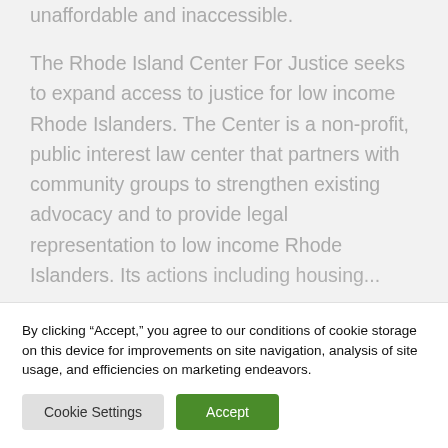unaffordable and inaccessible. The Rhode Island Center For Justice seeks to expand access to justice for low income Rhode Islanders. The Center is a non-profit, public interest law center that partners with community groups to strengthen existing advocacy and to provide legal representation to low income Rhode Islanders. Its actions including...
By clicking “Accept,” you agree to our conditions of cookie storage on this device for improvements on site navigation, analysis of site usage, and efficiencies on marketing endeavors.